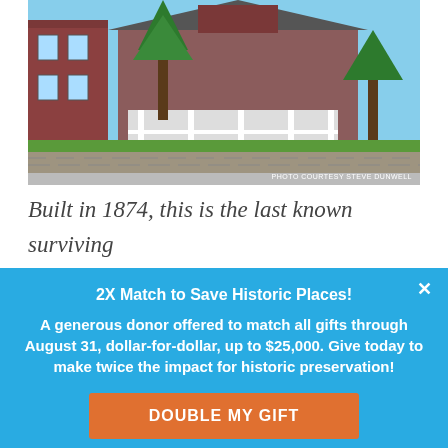[Figure (photo): Exterior photo of a brick house with white porch, trees, and stone retaining wall. Photo courtesy Steve Dunwell.]
Built in 1874, this is the last known surviving boyhood home of Malcolm X
2X Match to Save Historic Places!
A generous donor offered to match all gifts through August 31, dollar-for-dollar, up to $25,000. Give today to make twice the impact for historic preservation!
DOUBLE MY GIFT